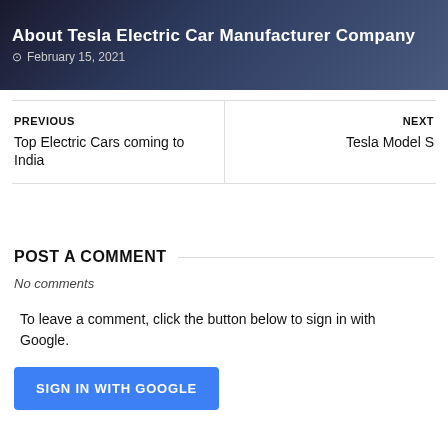[Figure (photo): Dark blue-grey hero banner with text overlay showing article title and date]
About Tesla Electric Car Manufacturer Company
February 15, 2021
PREVIOUS
Top Electric Cars coming to India
NEXT
Tesla Model S
POST A COMMENT
No comments
To leave a comment, click the button below to sign in with Google.
SIGN IN WITH GOOGLE